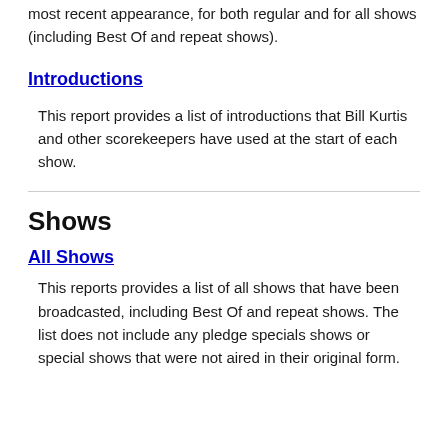most recent appearance, for both regular and for all shows (including Best Of and repeat shows).
Introductions
This report provides a list of introductions that Bill Kurtis and other scorekeepers have used at the start of each show.
Shows
All Shows
This reports provides a list of all shows that have been broadcasted, including Best Of and repeat shows. The list does not include any pledge specials shows or special shows that were not aired in their original form.